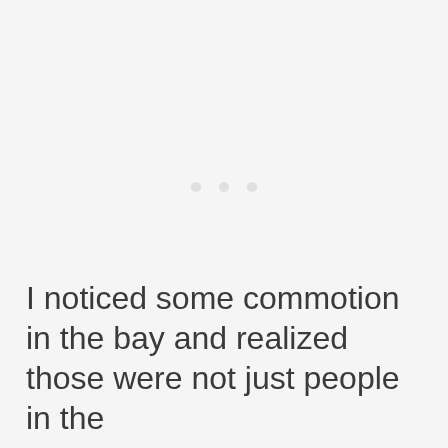[Figure (other): Three faint decorative dots centered on an off-white/light gray background, serving as a section break or chapter divider.]
I noticed some commotion in the bay and realized those were not just people in the